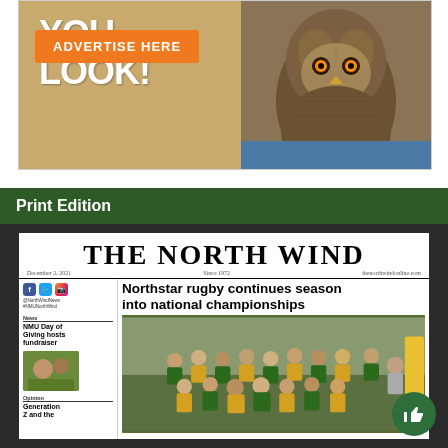[Figure (infographic): Advertisement banner with 'YOU LOOK!' text in white on tan background, owl/bird photo on right side, orange 'ADVERTISE HERE' button]
Print Edition
[Figure (screenshot): The North Wind newspaper front page. Headline: 'Northstar rugby continues season into national championships'. Includes NMU social media handles, News section with 'NMU Day of Giving hosts fundraiser', Opinion section with 'Generation Z and the'. Photo of rugby team celebrating in green and yellow uniforms.]